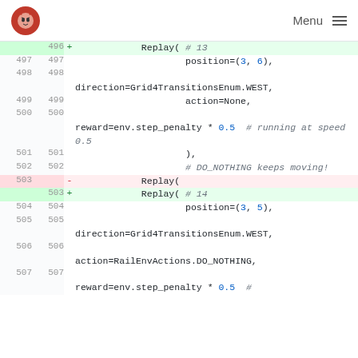Menu (navigation bar with logo)
[Figure (screenshot): Code diff view showing lines 496-507 of a Python file. Lines show Replay() constructor calls with position, direction, action, and reward parameters. Line 503 is removed (red) and replaced with an added line (green) adding a comment '# 14'. Added line 496 also shown in green with '# 13'.]